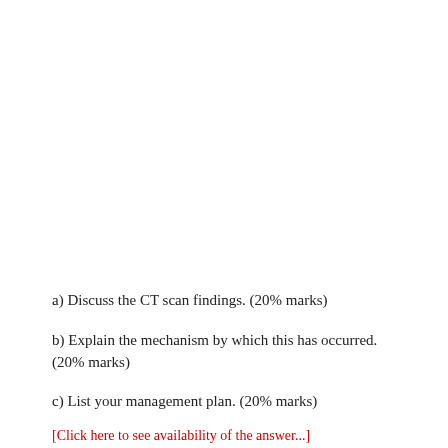a) Discuss the CT scan findings. (20% marks)
b) Explain the mechanism by which this has occurred. (20% marks)
c) List your management plan. (20% marks)
[Click here to see availability of the answer...]